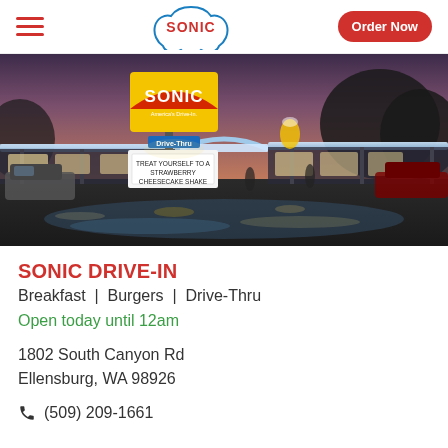SONIC | Order Now
[Figure (photo): Exterior night-time photo of a Sonic Drive-In restaurant with illuminated signage reading 'SONIC America's Drive-In' and a marquee sign reading 'TREAT YOURSELF TO A STRAWBERRY CHEESECAKE SHAKE'. The restaurant has a covered drive-in area with lights reflecting on a wet parking lot.]
SONIC DRIVE-IN
Breakfast  |  Burgers  |  Drive-Thru
Open today until 12am
1802 South Canyon Rd
Ellensburg, WA 98926
(509) 209-1661